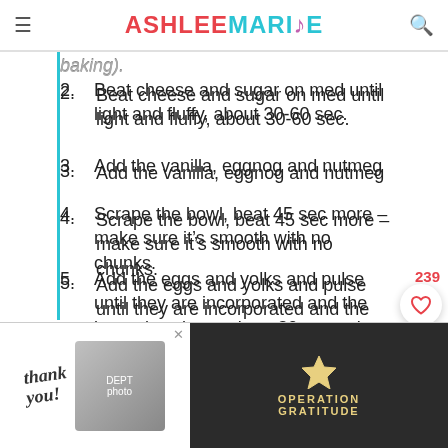ASHLEE MARIE
baking).
Beat cheese and sugar on med until light and fluffy, about 30-60 sec.
Add the vanilla, eggnog and nutmeg
Scrape the bowl, beat 45 sec more – make sure it's smooth with no chunks.
Add the eggs and yolks and pulse until they are incorporated and the batter is velvety, about 30 sec – do NOT overbeat.
Pour the filling over crust
bake on the center rack until golden, about 1 hour
[Figure (photo): Advertisement banner: thank you military/Operation Gratitude ad with firefighters photo]